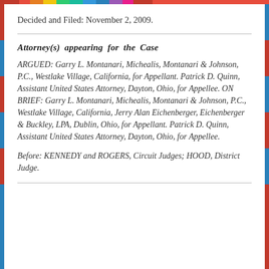Decided and Filed: November 2, 2009.
Attorney(s) appearing for the Case
ARGUED: Garry L. Montanari, Michealis, Montanari & Johnson, P.C., Westlake Village, California, for Appellant. Patrick D. Quinn, Assistant United States Attorney, Dayton, Ohio, for Appellee. ON BRIEF: Garry L. Montanari, Michealis, Montanari & Johnson, P.C., Westlake Village, California, Jerry Alan Eichenberger, Eichenberger & Buckley, LPA, Dublin, Ohio, for Appellant. Patrick D. Quinn, Assistant United States Attorney, Dayton, Ohio, for Appellee.
Before: KENNEDY and ROGERS, Circuit Judges; HOOD, District Judge.